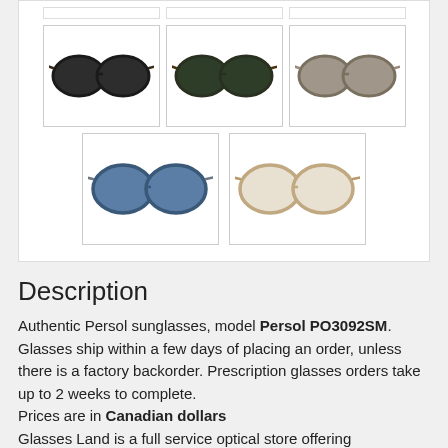[Figure (photo): Gallery of Persol PO3092SM sunglasses in various colorways: row of 3 images showing dark green/tortoise, green/tortoise, and grey/taupe variants; row of 2 images showing blue/translucent and clear/tortoise variants]
Description
Authentic Persol sunglasses, model Persol PO3092SM. Glasses ship within a few days of placing an order, unless there is a factory backorder. Prescription glasses orders take up to 2 weeks to complete.
Prices are in Canadian dollars
Glasses Land is a full service optical store offering eyeglasses and sunglasses at affordable prices over the internet.